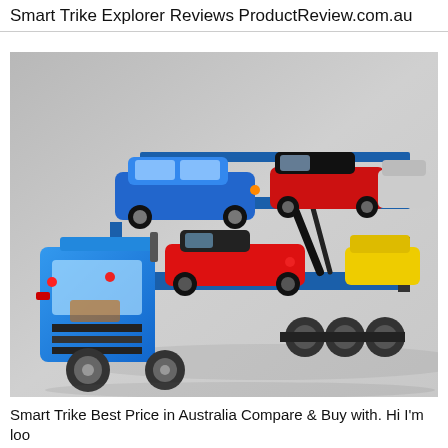Smart Trike Explorer Reviews ProductReview.com.au
[Figure (photo): A LEGO car transporter truck (blue) carrying multiple LEGO toy cars on two levels: a blue classic car and a red convertible on the upper deck, a red sports car and a yellow vehicle on the lower deck, plus a grey car on the upper right. The truck has a detailed cab and multiple wheel axles.]
Smart Trike Best Price in Australia Compare & Buy with. Hi I'm loo